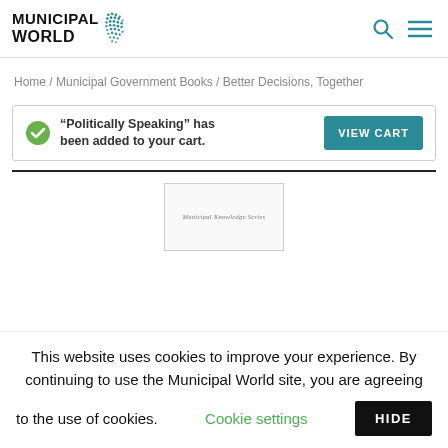Municipal World
Home / Municipal Government Books / Better Decisions, Together
“Politically Speaking” has been added to your cart.
[Figure (other): Book thumbnail showing Municipal Knowledge Series label]
This website uses cookies to improve your experience. By continuing to use the Municipal World site, you are agreeing to the use of cookies.
Cookie settings
HIDE